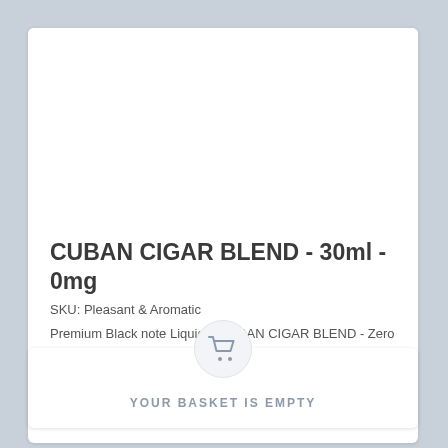[Figure (photo): White product image area (blank/empty product photo placeholder)]
CUBAN CIGAR BLEND - 30ml - 0mg
SKU: Pleasant & Aromatic
Premium Black note Liquids -CUBAN CIGAR BLEND - Zero mg
$24.95
View...
[Figure (illustration): Shopping cart icon inside a circle, below the product card]
YOUR BASKET IS EMPTY